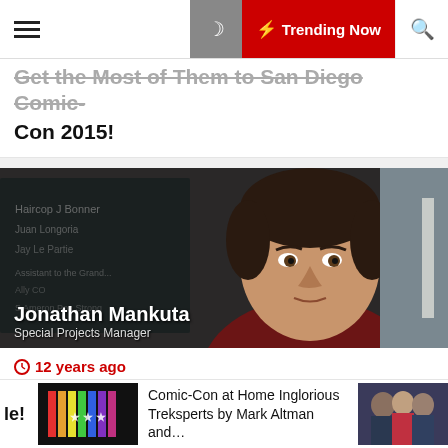Trending Now
Con 2015!
[Figure (photo): Portrait photo of Jonathan Mankuta, Special Projects Manager, from a TV show setting with a chalkboard in the background]
12 years ago
Hollywood Treasure: An Interview with Jonathan Mankuta of LOST and Saturday Night Live!
Comic-Con at Home Inglorious Treksperts by Mark Altman and...